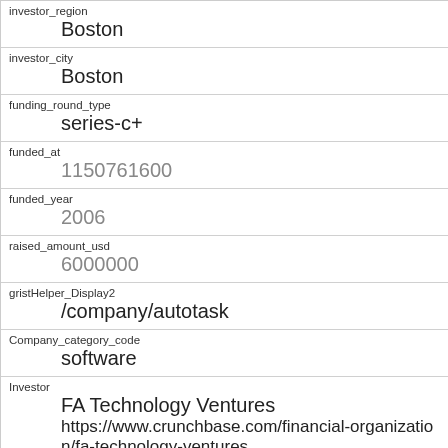| investor_region | Boston |
| investor_city | Boston |
| funding_round_type | series-c+ |
| funded_at | 1150761600 |
| funded_year | 2006 |
| raised_amount_usd | 6000000 |
| gristHelper_Display2 | /company/autotask |
| Company_category_code | software |
| Investor | FA Technology Ventures
https://www.crunchbase.com/financial-organization/fa-technology-ventures |